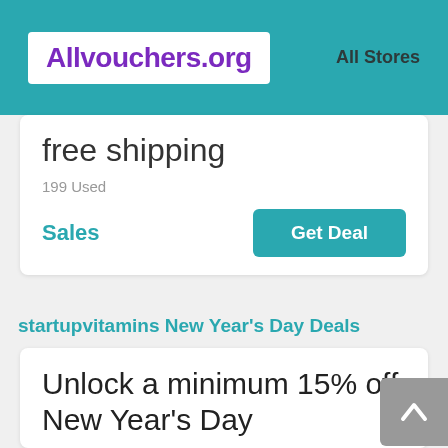Allvouchers.org   All Stores
free shipping
199 Used
Sales
Get Deal
startupvitamins New Year's Day Deals
Unlock a minimum 15% off New Year's Day
132 Used
15%Off
Get Deal